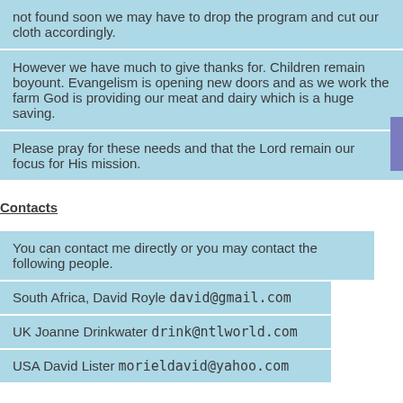not found soon we may have to drop the program and cut our cloth accordingly.
However we have much to give thanks for. Children remain boyount. Evangelism is opening new doors and as we work the farm God is providing our meat and dairy which is a huge saving.
Please pray for these needs and that the Lord remain our focus for His mission.
Contacts
You can contact me directly or you may contact the following people.
South Africa, David Royle david@gmail.com
UK Joanne Drinkwater drink@ntlworld.com
USA David Lister morieldavid@yahoo.com